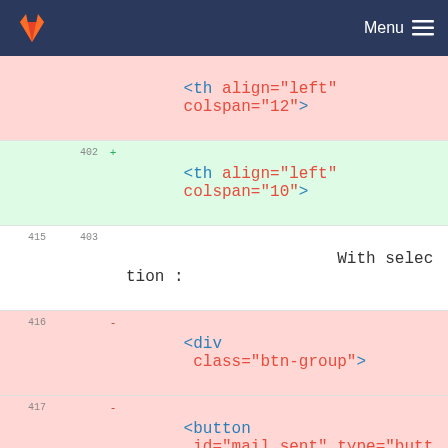GitLab Menu
[Figure (screenshot): GitLab code diff view showing HTML code changes with line numbers, deletion markers (-) and addition markers (+). Lines 402-418 shown with deleted lines in pink background and added lines in green background. Code shows HTML table header and button elements.]